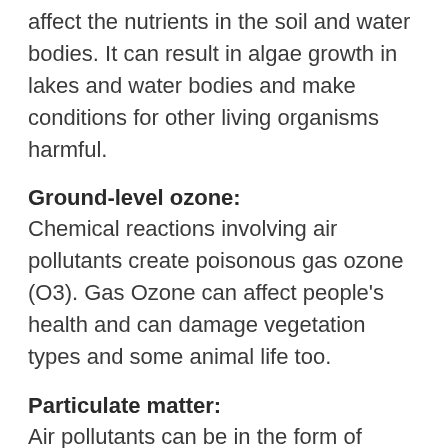affect the nutrients in the soil and water bodies. It can result in algae growth in lakes and water bodies and make conditions for other living organisms harmful.
Ground-level ozone:
Chemical reactions involving air pollutants create poisonous gas ozone (O3). Gas Ozone can affect people's health and can damage vegetation types and some animal life too.
Particulate matter:
Air pollutants can be in the form of particulate matter that can be very harmful to our health. The level of effect usually depends on the length of time of exposure, the sort, and concentration of chemicals, and the particles exposed. Short-term